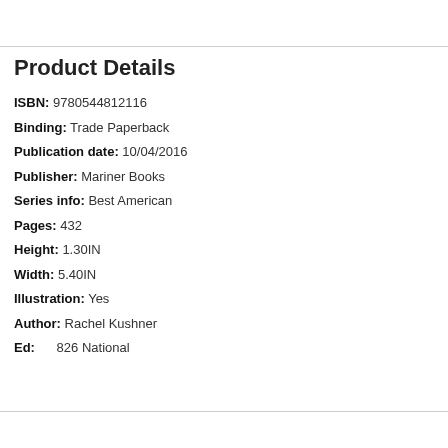Product Details
ISBN:  9780544812116
Binding: Trade Paperback
Publication date: 10/04/2016
Publisher: Mariner Books
Series info: Best American
Pages: 432
Height: 1.30IN
Width: 5.40IN
Illustration: Yes
Author: Rachel Kushner
Ed:      826 National